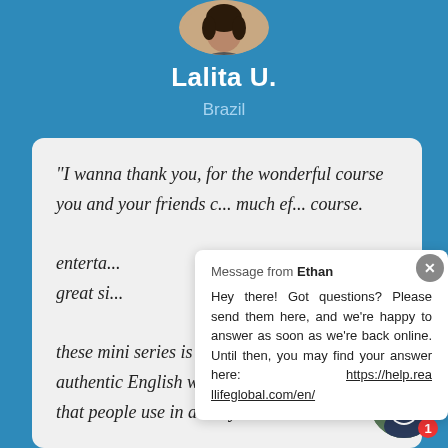[Figure (photo): Circular profile photo of Lalita U., partially cropped at top, showing a woman with dark hair]
Lalita U.
Brazil
"I wanna thank you, for the wonderful course you and your friends d... much ef... course. enterta... great si... these mini series is that you learn a natural, authentic English with a ton of idioms, slang that people use in a daily..."
Message from Ethan
Hey there! Got questions? Please send them here, and we're happy to answer as soon as we're back online. Until then, you may find your answer here: https://help.reallifeglobal.com/en/
[Figure (photo): Circular profile photo of a man (Ethan) with brown hair, with a red notification badge showing number 1]